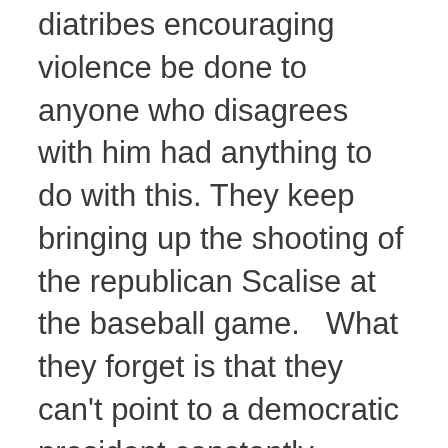diatribes encouraging violence be done to anyone who disagrees with him had anything to do with this. They keep bringing up the shooting of the republican Scalise at the baseball game.   What they forget is that they can't point to a democratic president constantly saying people should be harmed or anyone else of